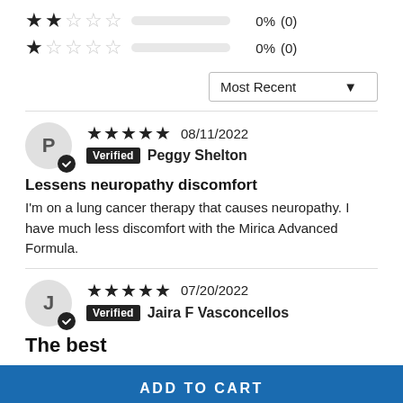★★☆☆☆  0%  (0)
★☆☆☆☆  0%  (0)
Most Recent ▼
P  ✓Verified  Peggy Shelton  ★★★★★  08/11/2022
Lessens neuropathy discomfort
I'm on a lung cancer therapy that causes neuropathy. I have much less discomfort with the Mirica Advanced Formula.
J  ✓Verified  Jaira F Vasconcellos  ★★★★★  07/20/2022
The best
ADD TO CART